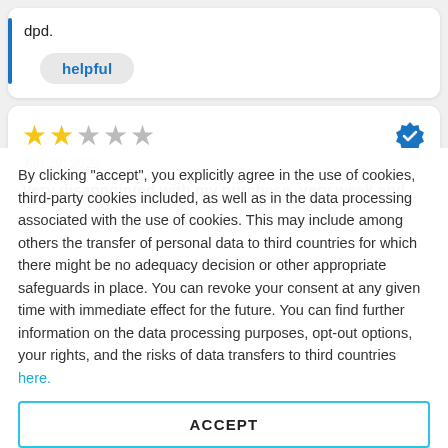dpd.
helpful
[Figure (other): 2 out of 5 stars rating with verified badge]
Jun 29, 2022
Very disappointed with my purchase, very weak and
By clicking "accept", you explicitly agree in the use of cookies, third-party cookies included, as well as in the data processing associated with the use of cookies. This may include among others the transfer of personal data to third countries for which there might be no adequacy decision or other appropriate safeguards in place. You can revoke your consent at any given time with immediate effect for the future. You can find further information on the data processing purposes, opt-out options, your rights, and the risks of data transfers to third countries here.
ACCEPT